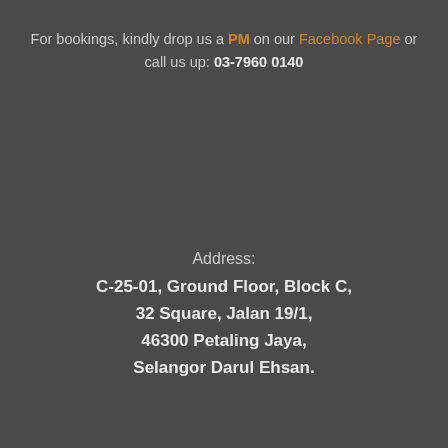For bookings, kindly drop us a PM on our Facebook Page or call us up: 03-7960 0140
Address: C-25-01, Ground Floor, Block C, 32 Square, Jalan 19/1, 46300 Petaling Jaya, Selangor Darul Ehsan.
Daisuke Salon at 03:32   No comments:
Share
Saturday, 8 September 2018
Japanese Air Wave Perm - Fine Hair